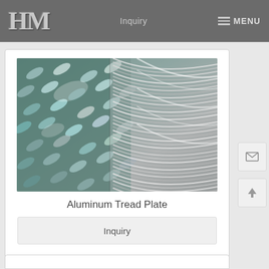HM | Inquiry | MENU
[Figure (photo): Close-up photo of aluminum tread plate (diamond plate) showing the raised diamond pattern on the left and stacked rolled coils of aluminum on the right]
Aluminum Tread Plate
Inquiry